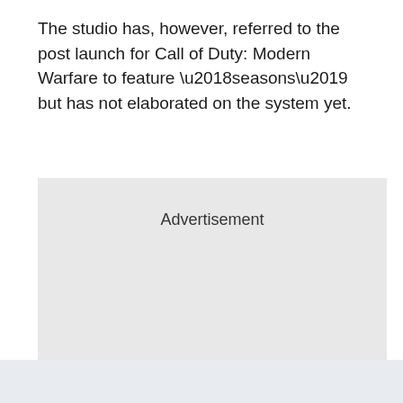The studio has, however, referred to the post launch for Call of Duty: Modern Warfare to feature ‘seasons’ but has not elaborated on the system yet.
[Figure (other): Advertisement placeholder box with light gray background and the text 'Advertisement' centered near the top.]